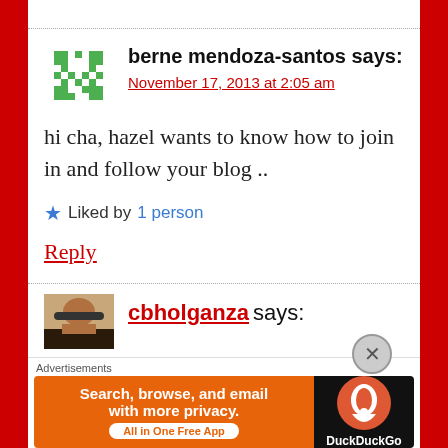berne mendoza-santos says:
November 17, 2013 at 2:05 am
hi cha, hazel wants to know how to join in and follow your blog ..
Liked by 1 person
Reply
cbholganza says:
[Figure (infographic): DuckDuckGo advertisement banner: Search, browse, and email with more privacy. All in One Free App]